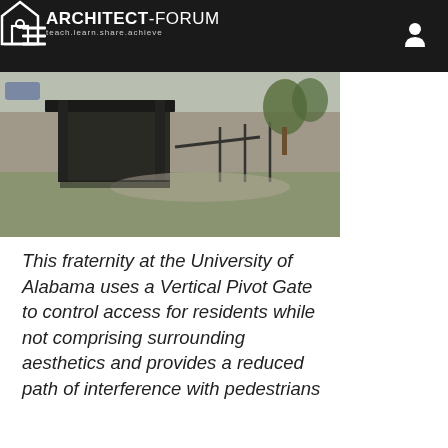ARCHITECT-FORUM teach.learn.share.achieve
[Figure (photo): Outdoor photo of a fraternity at the University of Alabama showing a Vertical Pivot Gate structure with a black metal canopy/shelter, ramps, railings, paved driveway, trees, and grass lawn.]
This fraternity at the University of Alabama uses a Vertical Pivot Gate to control access for residents while not comprising surrounding aesthetics and provides a reduced path of interference with pedestrians